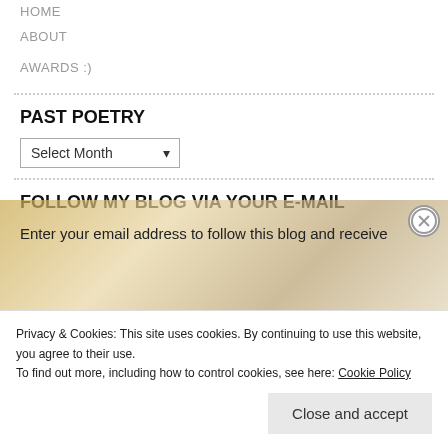HOME
ABOUT
AWARDS :)
PAST POETRY
Select Month (dropdown)
FOLLOW MY BLOG VIA YOUR E-MAIL
Enter your email address to follow this blog and receive
Privacy & Cookies: This site uses cookies. By continuing to use this website, you agree to their use. To find out more, including how to control cookies, see here: Cookie Policy
Close and accept